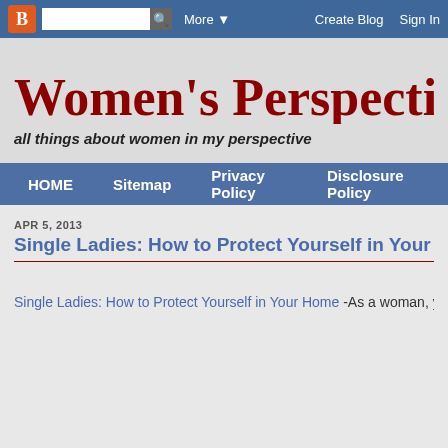Blogger navigation bar with logo, search, More, Create Blog, Sign In
Women's Perspective
all things about women in my perspective
HOME  Sitemap  Privacy Policy  Disclosure Policy
APR 5, 2013
Single Ladies: How to Protect Yourself in Your H
Single Ladies: How to Protect Yourself in Your Home -As a woman, yo